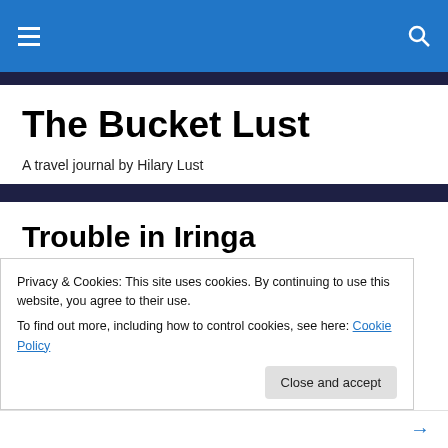The Bucket Lust — navigation bar
The Bucket Lust
A travel journal by Hilary Lust
Trouble in Iringa
[Figure (photo): Partial photo of what appears to be a bus or train interior, showing blue seats and overhead fixtures]
Privacy & Cookies: This site uses cookies. By continuing to use this website, you agree to their use.
To find out more, including how to control cookies, see here: Cookie Policy
Close and accept